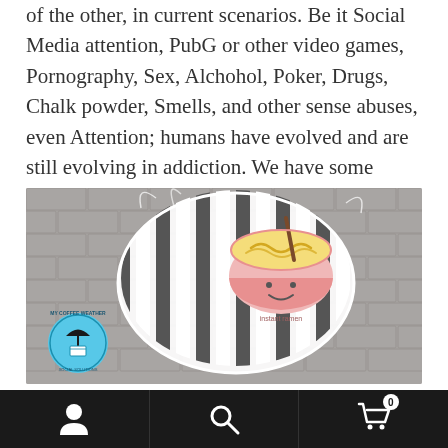of the other, in current scenarios. Be it Social Media attention, PubG or other video games, Pornography, Sex, Alchohol, Poker, Drugs, Chalk powder, Smells, and other sense abuses, even Attention; humans have evolved and are still evolving in addiction. We have some ground shattering statistics as a country.
[Figure (illustration): A grayscale image of a human head silhouette filled with black and white vertical stripes against a brick wall background. Inside the head, on the right side, is a cute cartoon illustration of a pink bowl of ramen/noodles with chopsticks and a smiley face. A circular logo in the bottom-left reads 'MY COFFEE WEATHER' with an umbrella and cup graphic.]
Navigation bar with user icon, search icon, and cart icon (0 items)